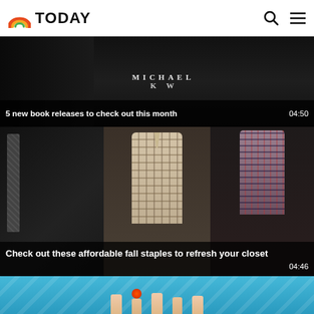TODAY
[Figure (screenshot): Dark video thumbnail showing a person near a Michael Kors book cover]
5 new book releases to check out this month  04:50
[Figure (screenshot): Video thumbnail showing three mannequins wearing plaid/flannel shirts in a store setting]
Check out these affordable fall staples to refresh your closet  04:46
[Figure (screenshot): Partial video thumbnail with blue background showing hands raised with the Today show logo]